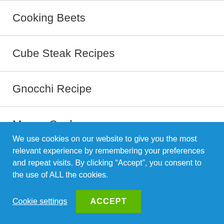Cooking Beets
Cube Steak Recipes
Gnocchi Recipe
Mason Cook
Twice Cooked Pork
We use cookies on our website to give you the most relevant experience by remembering your preferences and repeat visits. By clicking “Accept”, you consent to the use of ALL the cookies.
Cookie settings
ACCEPT